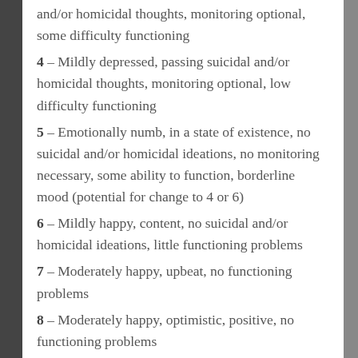and/or homicidal thoughts, monitoring optional, some difficulty functioning
4 – Mildly depressed, passing suicidal and/or homicidal thoughts, monitoring optional, low difficulty functioning
5 – Emotionally numb, in a state of existence, no suicidal and/or homicidal ideations, no monitoring necessary, some ability to function, borderline mood (potential for change to 4 or 6)
6 – Mildly happy, content, no suicidal and/or homicidal ideations, little functioning problems
7 – Moderately happy, upbeat, no functioning problems
8 – Moderately happy, optimistic, positive, no functioning problems